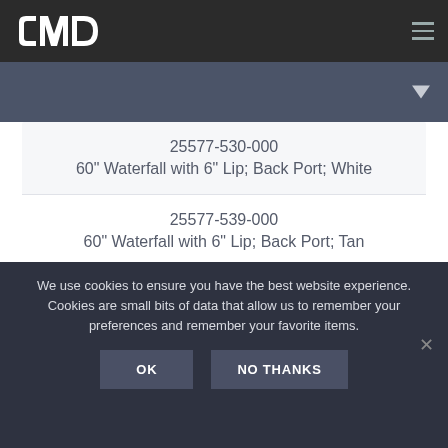CMP
25577-530-000
60" Waterfall with 6" Lip; Back Port; White
25577-539-000
60" Waterfall with 6" Lip; Back Port; Tan
25577-531-000
60" Waterfall with 6" Lip; Back Port; Gray
25577-535-000
We use cookies to ensure you have the best website experience. Cookies are small bits of data that allow us to remember your preferences and remember your favorite items.
OK   NO THANKS